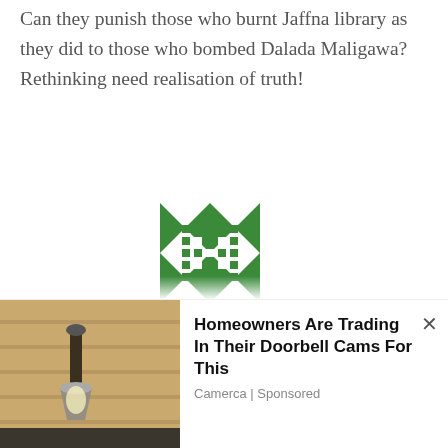Can they punish those who burnt Jaffna library as they did to those who bombed Dalada Maligawa?
Rethinking need realisation of truth!
[Figure (illustration): Green geometric/mosaic avatar icon for user Shrikharan]
Shrikharan / November 26, 2015
👍 5  👎 14
Ajith
I am sorry to say there are two thumbs down for your comment. You have not said
[Figure (photo): Advertisement photo showing a outdoor wall lamp/light fixture on a stone wall]
Homeowners Are Trading In Their Doorbell Cams For This
Camerca | Sponsored